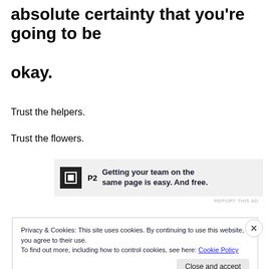absolute certainty that you're going to be okay.
Trust the helpers.
Trust the flowers.
[Figure (other): P2 advertisement banner: logo with 'P2' text beside it, and text reading 'Getting your team on the same page is easy. And free.']
REPORT THIS AD
Privacy & Cookies: This site uses cookies. By continuing to use this website, you agree to their use.
To find out more, including how to control cookies, see here: Cookie Policy